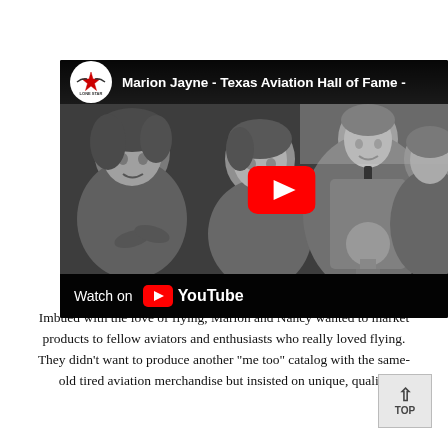[Figure (screenshot): YouTube video thumbnail showing Marion Jayne - Texas Aviation Hall of Fame. Black and white photo of four people smiling, one holding a trophy. Features Lone Star channel logo, red play button, and 'Watch on YouTube' bar at bottom.]
Imbued with the love of flying, Marion and Nancy wanted to market products to fellow aviators and enthusiasts who really loved flying. They didn't want to produce another "me too" catalog with the same-old tired aviation merchandise but insisted on unique, quality